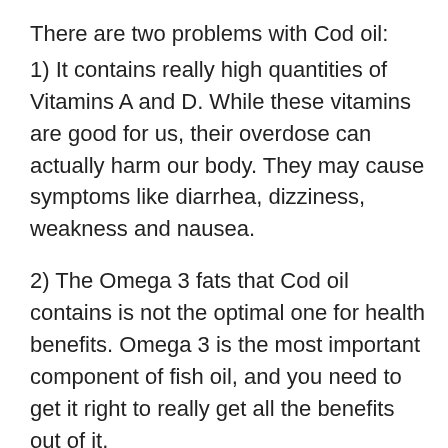There are two problems with Cod oil:
1) It contains really high quantities of Vitamins A and D. While these vitamins are good for us, their overdose can actually harm our body. They may cause symptoms like diarrhea, dizziness, weakness and nausea.
2) The Omega 3 fats that Cod oil contains is not the optimal one for health benefits. Omega 3 is the most important component of fish oil, and you need to get it right to really get all the benefits out of it.
The ideal Omega 3 fats we need in our fish oil are - DHA and EPA. Till now EPA was the centre of focus in fish oil. Recent research has proven that it is DHA